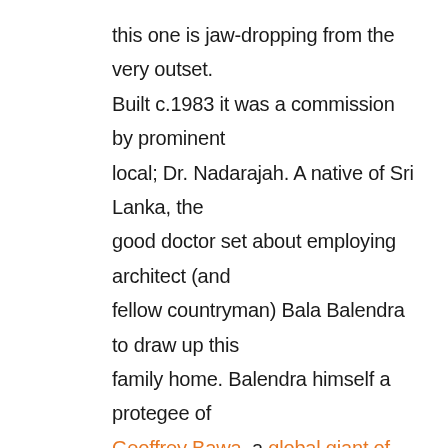this one is jaw-dropping from the very outset. Built c.1983 it was a commission by prominent local; Dr. Nadarajah. A native of Sri Lanka, the good doctor set about employing architect (and fellow countryman) Bala Balendra to draw up this family home. Balendra himself a protegee of Geoffrey Bawa, a global giant of architecture often cited as the greatest architect from Asia in the Twentieth Century and force behind the MCM variations of Tropical Modernism and Regional Modernism. And you can see this inspiration and consummate architectural practice all its glory right here. This large home of pragmatic